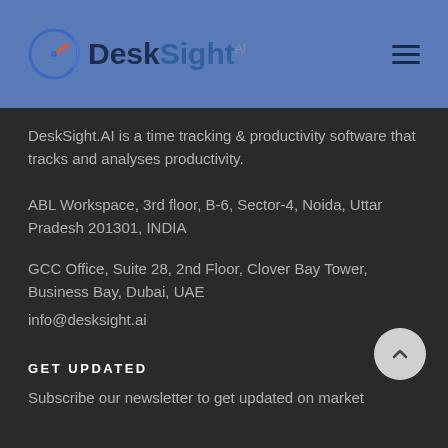DeskSight AI
DeskSight.AI is a time tracking & productivity software that tracks and analyses productivity.
ABL Workspace, 3rd floor, B-6, Sector-4, Noida, Uttar Pradesh 201301, INDIA
GCC Office, Suite 28, 2nd Floor, Clover Bay Tower, Business Bay, Dubai, UAE
info@desksight.ai
GET UPDATED
Subscribe our newsletter to get updated on market